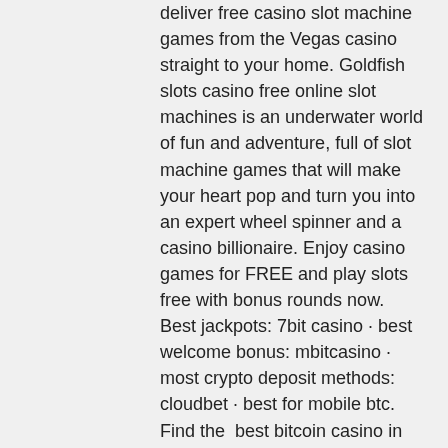deliver free casino slot machine games from the Vegas casino straight to your home. Goldfish slots casino free online slot machines is an underwater world of fun and adventure, full of slot machine games that will make your heart pop and turn you into an expert wheel spinner and a casino billionaire. Enjoy casino games for FREE and play slots free with bonus rounds now. Best jackpots: 7bit casino · best welcome bonus: mbitcasino · most crypto deposit methods: cloudbet · best for mobile btc. Find the  best bitcoin casino in the uk ! we've ranked ▶ the safest online bitcoin casinos! find secure crypto btc casino &amp; gambling sites! Bitstarz - best overall bitcoin casino ; 2. 7bit casino - best crypto slots site ; 3. Mbit casino - fastest payouts ; 4. Cloudbet - best live. Crypto casinos work just like regular online casinos except for the payments. While e-wallets have been deemed the fastest deposit method so far,